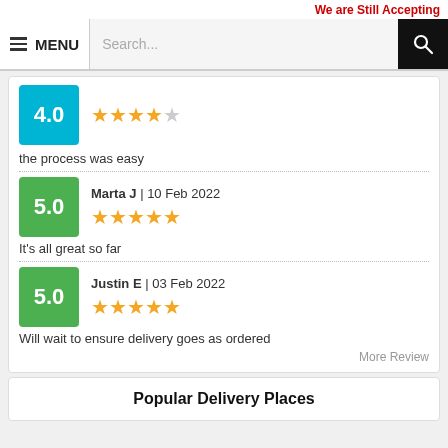We are Still Accepting
the process was easy
Marta J | 10 Feb 2022
It's all great so far
Justin E | 03 Feb 2022
Will wait to ensure delivery goes as ordered
More Review
Popular Delivery Places